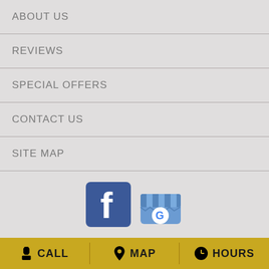ABOUT US
REVIEWS
SPECIAL OFFERS
CONTACT US
SITE MAP
[Figure (logo): Facebook logo icon (blue square with white f) and Google My Business logo icon (striped awning store with G)]
BLOOMERS AND THE BROWNHOUSE
330 S ARCHIBALD ST
CALL   MAP   HOURS